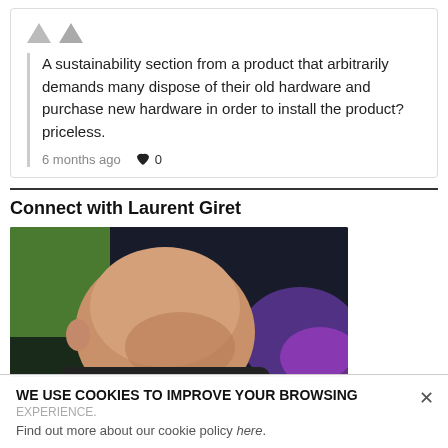A sustainability section from a product that arbitrarily demands many dispose of their old hardware and purchase new hardware in order to install the product? priceless.
6 months ago ♥ 0
Connect with Laurent Giret
[Figure (photo): Profile photo of Laurent Giret, showing the back of a bald man's head at what appears to be an event or conference with colorful lighting in the background.]
WE USE COOKIES TO IMPROVE YOUR BROWSING EXPERIENCE. Find out more about our cookie policy here.